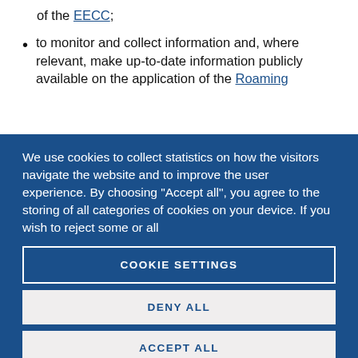of the EECC;
to monitor and collect information and, where relevant, make up-to-date information publicly available on the application of the Roaming
We use cookies to collect statistics on how the visitors navigate the website and to improve the user experience. By choosing "Accept all", you agree to the storing of all categories of cookies on your device. If you wish to reject some or all
COOKIE SETTINGS
DENY ALL
ACCEPT ALL